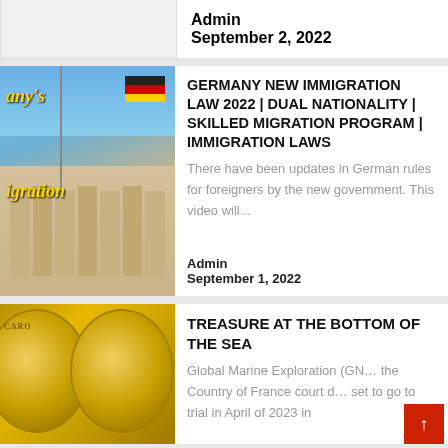Admin
September 2, 2022
[Figure (photo): German Reichstag building with German flag waving, text overlays reading 'any's' and 'igration' in gold italic font]
GERMANY NEW IMMIGRATION LAW 2022 | DUAL NATIONALITY | SKILLED MIGRATION PROGRAM | IMMIGRATION LAWS
There have been updates in German rules for foreigners by the new government. This video will...
Admin
September 1, 2022
[Figure (photo): Gold coins with Latin inscriptions, close-up photograph]
TREASURE AT THE BOTTOM OF THE SEA
Global Marine Exploration (GN… the Country of France court d… set to go to trial in April of 2023 in